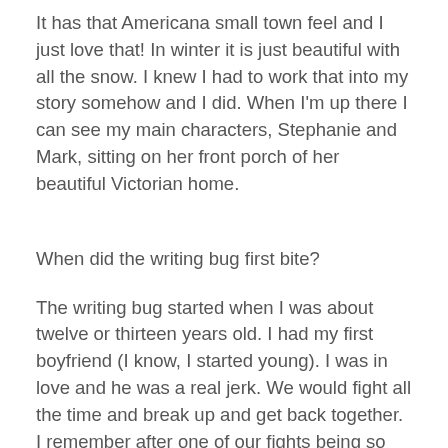It has that Americana small town feel and I just love that! In winter it is just beautiful with all the snow. I knew I had to work that into my story somehow and I did. When I'm up there I can see my main characters, Stephanie and Mark, sitting on her front porch of her beautiful Victorian home.
When did the writing bug first bite?
The writing bug started when I was about twelve or thirteen years old. I had my first boyfriend (I know, I started young). I was in love and he was a real jerk. We would fight all the time and break up and get back together. I remember after one of our fights being so upset and needing a way to purge my feelings and I grabbed a pen and just started writing. Poetry came